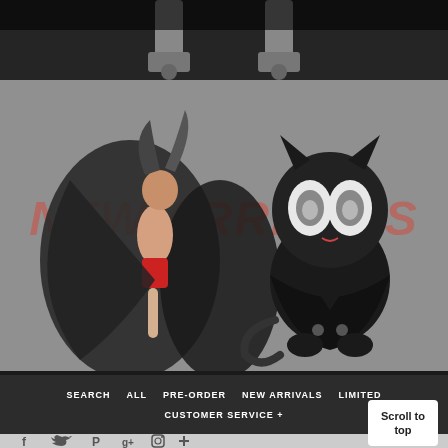[Figure (photo): Top partial image showing robot/mecha figure legs in dark background, cropped at bottom of previous section]
[Figure (photo): Main banner image on gray background showing two anime figures: a dark-winged female character on the left and a black cat-like character (Morgana from Persona 5) on the right, with semi-transparent red 'NEW ARRIVALS' text overlay]
NEW ARRIVALS
SEARCH
ALL
PRE-ORDER
NEW ARRIVALS
LIMITED
CUSTOMER SERVICE +
Scroll to top
[Figure (illustration): Row of social media icons: Facebook, Twitter, Pinterest, Google+, Instagram, and another icon, shown in dark color on light gray footer strip]